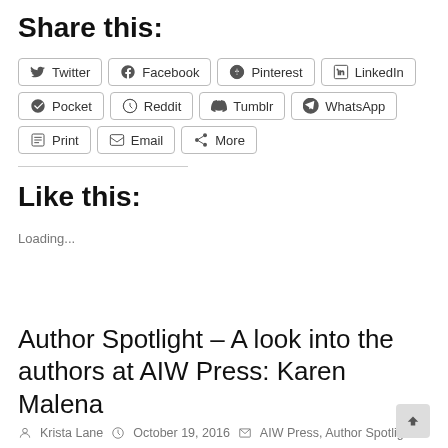Share this:
Twitter
Facebook
Pinterest
LinkedIn
Pocket
Reddit
Tumblr
WhatsApp
Print
Email
More
Like this:
Loading...
Author Spotlight – A look into the authors at AIW Press: Karen Malena
Krista Lane  October 19, 2016  AIW Press, Author Spotlight